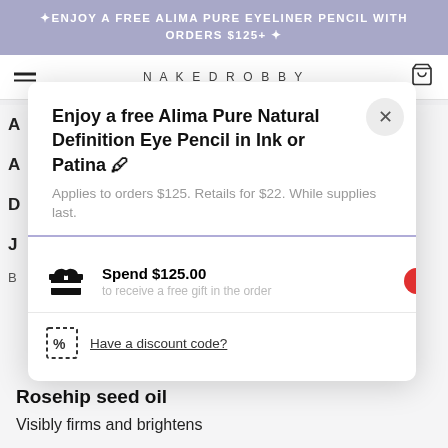✦ENJOY A FREE ALIMA PURE EYELINER PENCIL WITH ORDERS $125+ ✦
NAKEDROBBY
Enjoy a free Alima Pure Natural Definition Eye Pencil in Ink or Patina 🖊
Applies to orders $125. Retails for $22. While supplies last.
Spend $125.00
Have a discount code?
Rosehip seed oil
Visibly firms and brightens